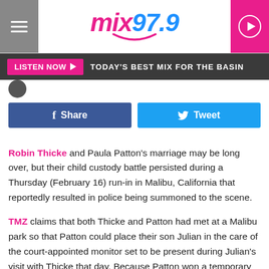mix97.9
LISTEN NOW  TODAY'S BEST MIX FOR THE BASIN
Share  Tweet
Robin Thicke and Paula Patton's marriage may be long over, but their child custody battle persisted during a Thursday (February 16) run-in in Malibu, California that reportedly resulted in police being summoned to the scene.
TMZ claims that both Thicke and Patton had met at a Malibu park so that Patton could place their son Julian in the care of the court-appointed monitor set to be present during Julian's visit with Thicke that day. Because Patton won a temporary restraining order against Thicke on January 27, the "Blurred